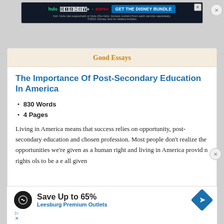[Figure (screenshot): Disney Bundle advertisement banner with Hulu, Disney+, ESPN+ logos and GET THE DISNEY BUNDLE button]
Good Essays
The Importance Of Post-Secondary Education In America
830 Words
4 Pages
Living in America means that success relies on opportunity, post-secondary education and chosen profession. Most people don't realize the opportunities we're given as a human right and living in America provid... n rights... ools to be a... e all given...
[Figure (screenshot): Leesburg Premium Outlets advertisement: Save Up to 65%]